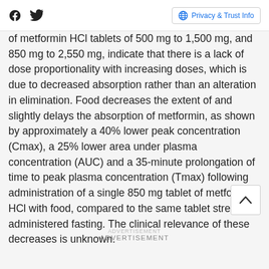Social icons (Facebook, Twitter) | Privacy & Trust Info
of metformin HCl tablets of 500 mg to 1,500 mg, and 850 mg to 2,550 mg, indicate that there is a lack of dose proportionality with increasing doses, which is due to decreased absorption rather than an alteration in elimination. Food decreases the extent of and slightly delays the absorption of metformin, as shown by approximately a 40% lower peak concentration (Cmax), a 25% lower area under plasma concentration (AUC) and a 35-minute prolongation of time to peak plasma concentration (Tmax) following administration of a single 850 mg tablet of metformin HCl with food, compared to the same tablet strength administered fasting. The clinical relevance of these decreases is unknown.
ADVERTISEMENT